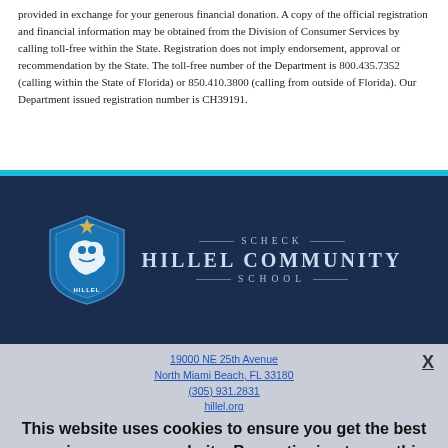provided in exchange for your generous financial donation. A copy of the official registration and financial information may be obtained from the Division of Consumer Services by calling toll-free within the State. Registration does not imply endorsement, approval or recommendation by the State. The toll-free number of the Department is 800.435.7352 (calling within the State of Florida) or 850.410.3800 (calling from outside of Florida). Our Department issued registration number is CH39191.
[Figure (logo): Scheck Hillel Community School logo: shield with lion on blue background, school name in navy/silver text with horizontal rules]
19000 NE 25th Avenue
North Miami Beach, FL 33180
(305) 931.2831
hillel.org
This website uses cookies to ensure you get the best experience on our website. By continuing to use this website, you consent to our use of these cookies.